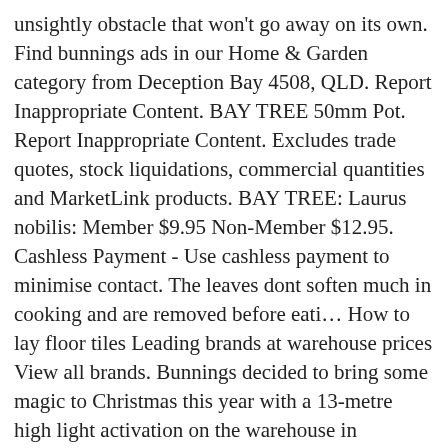unsightly obstacle that won't go away on its own. Find bunnings ads in our Home & Garden category from Deception Bay 4508, QLD. Report Inappropriate Content. BAY TREE 50mm Pot. Report Inappropriate Content. Excludes trade quotes, stock liquidations, commercial quantities and MarketLink products. BAY TREE: Laurus nobilis: Member $9.95 Non-Member $12.95. Cashless Payment - Use cashless payment to minimise contact. The leaves dont soften much in cooking and are removed before eati… How to lay floor tiles Leading brands at warehouse prices View all brands. Bunnings decided to bring some magic to Christmas this year with a 13-metre high light activation on the warehouse in Maribyrnong, in Melbourne's north west. How To Grow a Bay Tree Bay trees are pretty versatile and will grow in full sun or part shade. Visit Bunnings Warehouse New Zealand today to find your nearest store! It features shiny, dark green oval-shaped leaves with a leathery texture that are popularly used as a … She's warning others to … The dark green leaves are very